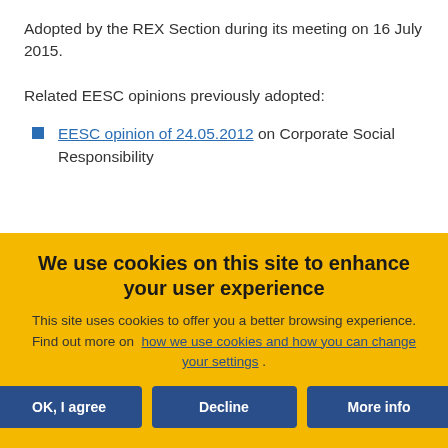Adopted by the REX Section during its meeting on 16 July 2015.
Related EESC opinions previously adopted:
EESC opinion of 24.05.2012 on Corporate Social Responsibility
We use cookies on this site to enhance your user experience
This site uses cookies to offer you a better browsing experience. Find out more on how we use cookies and how you can change your settings .
OK, I agree | Decline | More info